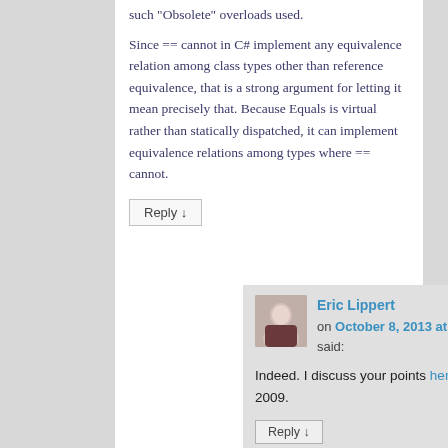such "Obsolete" overloads used.
Since == cannot in C# implement any equivalence relation among class types other than reference equivalence, that is a strong argument for letting it mean precisely that. Because Equals is virtual rather than statically dispatched, it can implement equivalence relations among types where == cannot.
Reply ↓
Eric Lippert on October 8, 2013 at 11:37 am said:
Indeed. I discuss your points here back in 2009.
Reply ↓